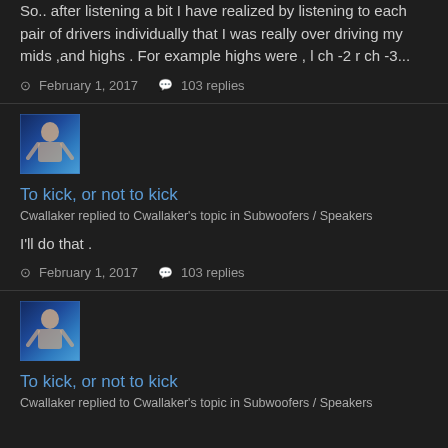So.. after listening a bit I have realized by listening to each pair of drivers individually that I was really over driving my mids ,and highs . For example highs were , l ch -2 r ch -3...
February 1, 2017   103 replies
[Figure (illustration): User avatar showing a muscular figure with blue/dark background]
To kick, or not to kick
Cwallaker replied to Cwallaker's topic in Subwoofers / Speakers
I'll do that .
February 1, 2017   103 replies
[Figure (illustration): User avatar showing a muscular figure with blue/dark background]
To kick, or not to kick
Cwallaker replied to Cwallaker's topic in Subwoofers / Speakers